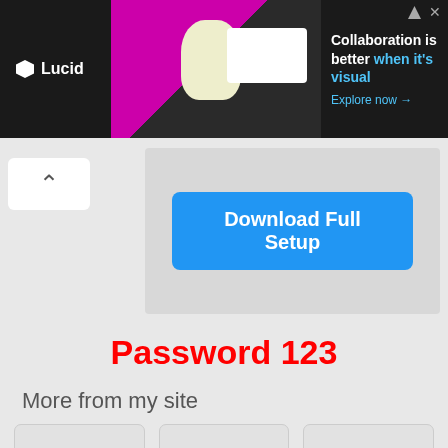[Figure (screenshot): Lucid advertisement banner: dark background with logo on left, person in center, text 'Collaboration is better when it's visual. Explore now →' on right]
Download Full Setup
Password 123
More from my site
[Figure (illustration): Thumbnail placeholder for ThunderSoft Video to GIF Converter 2022 Free Download]
ThunderSoft Video to GIF Converter 2022 Free Download
[Figure (illustration): Thumbnail placeholder for Red Gate SmartAssembly Professional 2020 Free Download]
Red Gate SmartAssembly Professional 2020 Free Download
[Figure (illustration): Thumbnail placeholder for DirectX 9 Free Download]
DirectX 9 Free Download